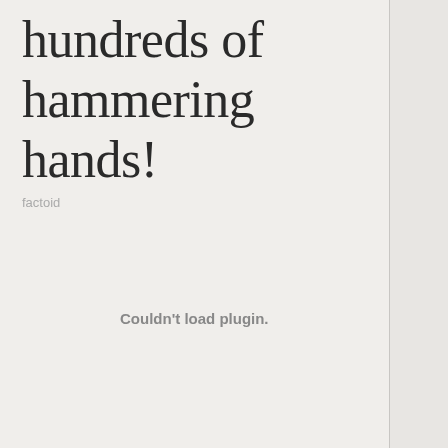hundreds of hammering hands!
factoid
Couldn't load plugin.